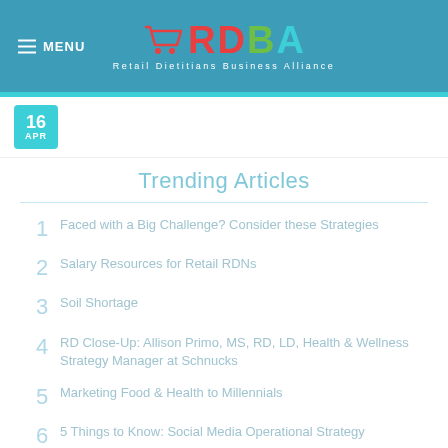MENU | RDBA - Retail Dietitians Business Alliance
16 APR
Trending Articles
1 Faced with a Big Challenge? Consider these Strategies
2 Salary Resources for Retail RDNs
3 Soil Shortage
4 RD Close-Up: Allison Primo, MS, RD, LD, Health & Wellness Strategy Manager at Schnucks
5 Marketing Food & Health to Millennials
6 5 Things to Know: Social Media Operational Strategy